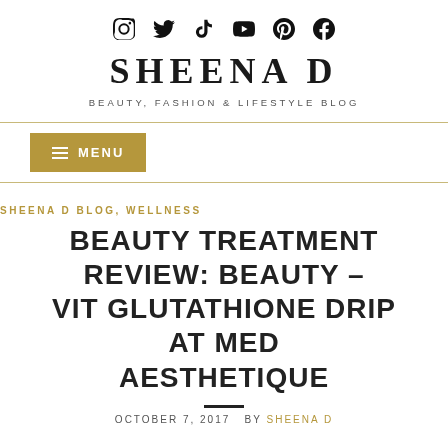[Figure (other): Social media icons row: Instagram, Twitter, TikTok, YouTube, Pinterest, Facebook]
SHEENA D
BEAUTY, FASHION & LIFESTYLE BLOG
≡ MENU
SHEENA D BLOG, WELLNESS
BEAUTY TREATMENT REVIEW: BEAUTY – VIT GLUTATHIONE DRIP AT MED AESTHETIQUE
OCTOBER 7, 2017  BY SHEENA D